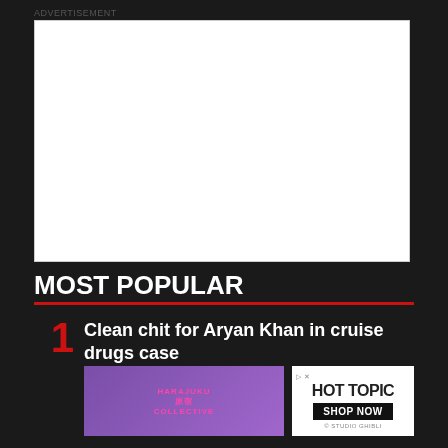ADVERTISEMENT
[Figure (other): Empty white advertisement placeholder box with border]
MOST POPULAR
Clean chit for Aryan Khan in cruise drugs case
[Figure (illustration): Advertisement banner with Harajuku Collective branding showing two anime-style figures on purple background alongside Hot Topic shop now advertisement]